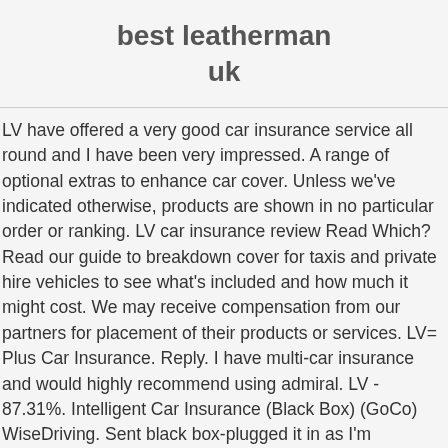best leatherman uk
LV have offered a very good car insurance service all round and I have been very impressed. A range of optional extras to enhance car cover. Unless we've indicated otherwise, products are shown in no particular order or ranking. LV car insurance review Read Which? Read our guide to breakdown cover for taxis and private hire vehicles to see what's included and how much it might cost. We may receive compensation from our partners for placement of their products or services. LV= Plus Car Insurance. Reply. I have multi-car insurance and would highly recommend using admiral. LV - 87.31%. Intelligent Car Insurance (Black Box) (GoCo) WiseDriving. Sent black box-plugged it in as I'm confident I drive well. To make matters worse, they went ahead and deducted £213 from my account after they had cancelled my insurance. Useful. If you drive … Here's what